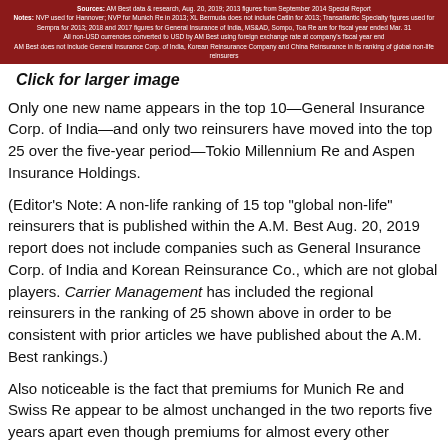[Figure (other): Red banner with white text containing source/notes/disclaimer text for a reinsurance ranking table]
Click for larger image
Only one new name appears in the top 10—General Insurance Corp. of India—and only two reinsurers have moved into the top 25 over the five-year period—Tokio Millennium Re and Aspen Insurance Holdings.
(Editor's Note: A non-life ranking of 15 top "global non-life" reinsurers that is published within the A.M. Best Aug. 20, 2019 report does not include companies such as General Insurance Corp. of India and Korean Reinsurance Co., which are not global players. Carrier Management has included the regional reinsurers in the ranking of 25 shown above in order to be consistent with prior articles we have published about the A.M. Best rankings.)
Also noticeable is the fact that premiums for Munich Re and Swiss Re appear to be almost unchanged in the two reports five years apart even though premiums for almost every other member of the 25-member cohort have grown. (Lloyd's is a notable decliner also.) Part of the explanation behind the flattish premiums for Munich Re, however, is likely attributable to the